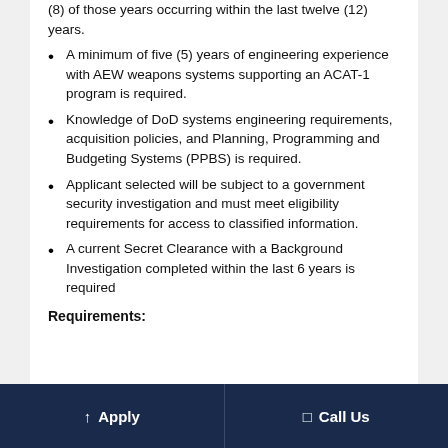(8) of those years occurring within the last twelve (12) years.
A minimum of five (5) years of engineering experience with AEW weapons systems supporting an ACAT-1 program is required.
Knowledge of DoD systems engineering requirements, acquisition policies, and Planning, Programming and Budgeting Systems (PPBS) is required.
Applicant selected will be subject to a government security investigation and must meet eligibility requirements for access to classified information.
A current Secret Clearance with a Background Investigation completed within the last 6 years is required
Requirements:
Apply   Call Us